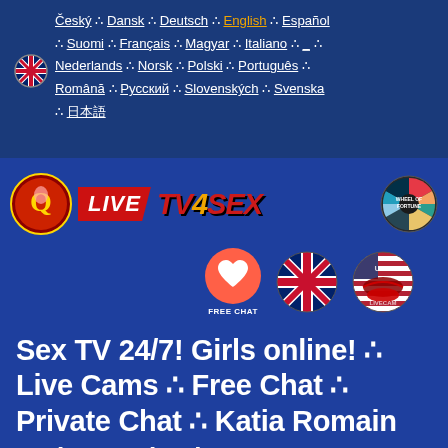Český ∴ Dansk ∴ Deutsch ∴ English ∴ Español ∴ Suomi ∴ Français ∴ Magyar ∴ Italiano ∴ _ ∴ Nederlands ∴ Norsk ∴ Polski ∴ Português ∴ Română ∴ Русский ∴ Slovenských ∴ Svenska ∴ 日本語
[Figure (logo): QlIVE TV4SEX logo with Wheel of Fortune badge, Free Chat heart icon, UK flag circle, USA lip design]
Sex TV 24/7! Girls online! ∴ Live Cams ∴ Free Chat ∴ Private Chat ∴ Katia Romain KatiaRomain The Hottest Cam...